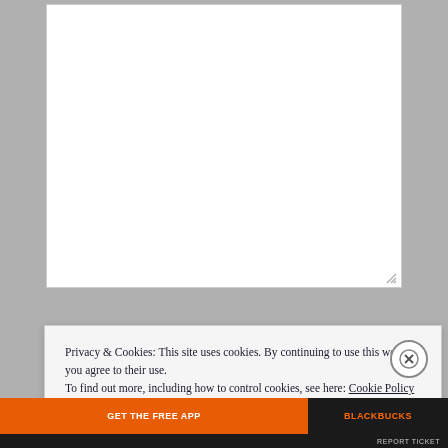[Figure (screenshot): White content/textarea box with a resize handle indicator at the bottom right corner, displayed against a gray background]
Privacy & Cookies: This site uses cookies. By continuing to use this website, you agree to their use. To find out more, including how to control cookies, see here: Cookie Policy
Close and accept
[Figure (screenshot): Bottom banner strip with orange background on the left side and dark/black background on the right side, containing white text]